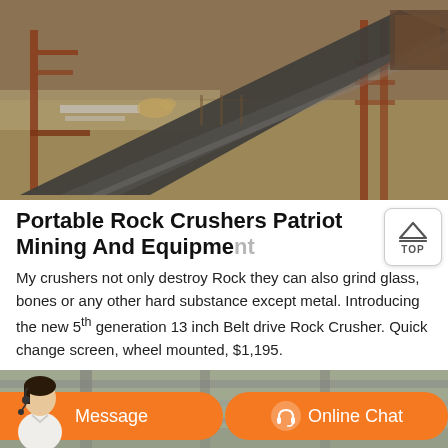[Figure (photo): Outdoor industrial conveyor belt system / rock crusher machinery with rusty red metal frame, long dark conveyor belt extending diagonally, dry grass and dirt terrain in background]
Portable Rock Crushers Patriot Mining And Equipment
My crushers not only destroy Rock they can also grind glass, bones or any other hard substance except metal. Introducing the new 5th generation 13 inch Belt drive Rock Crusher. Quick change screen, wheel mounted, $1,195.
[Figure (photo): Bottom partial photo of industrial mining equipment / pipes and machinery, with an orange chat bar overlay showing 'Message' and 'Online Chat' buttons, and a customer service representative figure on the left side]